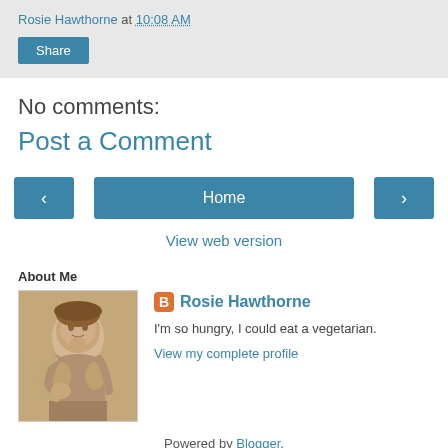Rosie Hawthorne at 10:08 AM
Share
No comments:
Post a Comment
< Home >
View web version
About Me
[Figure (photo): Sepia-toned vintage photo of a woman resting her chin on her hand]
Rosie Hawthorne
I'm so hungry, I could eat a vegetarian.
View my complete profile
Powered by Blogger.